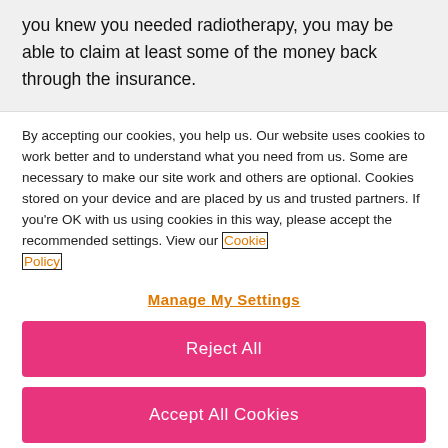you knew you needed radiotherapy, you may be able to claim at least some of the money back through the insurance.
By accepting our cookies, you help us. Our website uses cookies to work better and to understand what you need from us. Some are necessary to make our site work and others are optional. Cookies stored on your device and are placed by us and trusted partners. If you're OK with us using cookies in this way, please accept the recommended settings. View our Cookie Policy
Manage My Settings
Reject All
Accept All Cookies